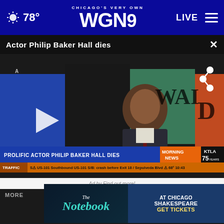CHICAGO'S VERY OWN WGN9 | 78° | LIVE
Actor Philip Baker Hall dies
[Figure (screenshot): Video player screenshot showing actor Philip Baker Hall in a dark suit and burgundy tie, standing at a podium. Lower third chyron reads 'PROLIFIC ACTOR PHILIP BAKER HALL DIES' with KTLA Morning News branding and traffic ticker showing US-101 Southbound crash info.]
Ad by Find out more!
MORE
[Figure (screenshot): Advertisement banner for 'The Notebook' at Chicago Shakespeare — AT CHICAGO SHAKESPEARE GET TICKETS]